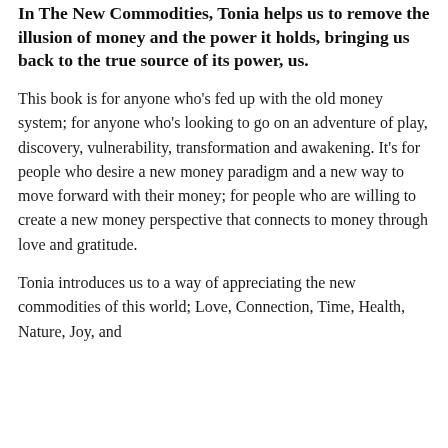In The New Commodities, Tonia helps us to remove the illusion of money and the power it holds, bringing us back to the true source of its power, us.
This book is for anyone who's fed up with the old money system; for anyone who's looking to go on an adventure of play, discovery, vulnerability, transformation and awakening. It's for people who desire a new money paradigm and a new way to move forward with their money; for people who are willing to create a new money perspective that connects to money through love and gratitude.
Tonia introduces us to a way of appreciating the new commodities of this world; Love, Connection, Time, Health, Nature, Joy, and